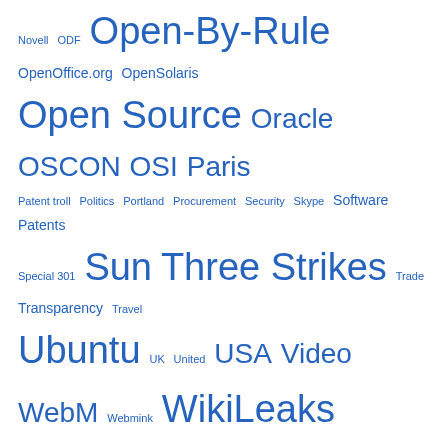Novell ODF Open-By-Rule OpenOffice.org OpenSolaris Open Source Oracle OSCON OSI Paris Patent troll Politics Portland Procurement Security Skype Software Patents Special 301 Sun Three Strikes Trade Transparency Travel Ubuntu UK United USA Video WebM Webmink WikiLeaks YouTube
Site
Register
Log in
Entries feed
Comments feed
WordPress.com